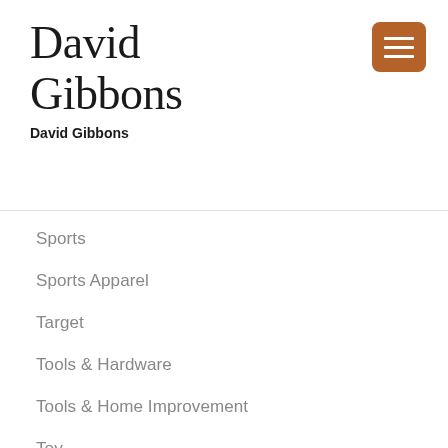David Gibbons
David Gibbons
Sports
Sports Apparel
Target
Tools & Hardware
Tools & Home Improvement
Toy
Uncategorized
Unknown Binding
Video Game